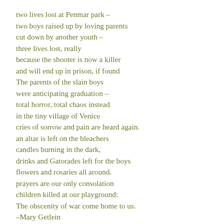two lives lost at Penmar park –
two boys raised up by loving parents
cut down by another youth –
three lives lost, really
because the shooter is now a killer
and will end up in prison, if found
The parents of the slain boys
were anticipating graduation –
total horror, total chaos instead
in the tiny village of Venice
cries of sorrow and pain are heard again.
an altar is left on the bleachers
candles burning in the dark,
drinks and Gatorades left for the boys
flowers and rosaries all around.
prayers are our only consolation
children killed at our playground:
The obscenity of war come home to us.
–Mary Getlein
———